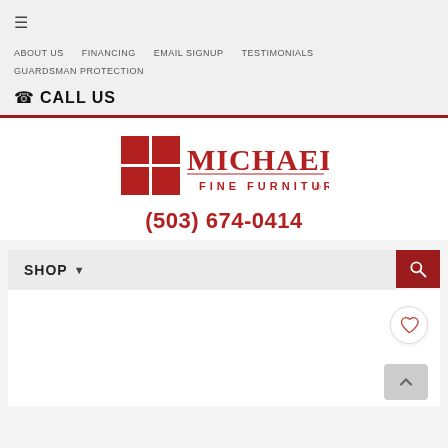≡
ABOUT US
FINANCING
EMAIL SIGNUP
TESTIMONIALS
GUARDSMAN PROTECTION
✆ CALL US
[Figure (logo): Michael's Fine Furniture logo with red grid icon and red serif wordmark]
(503) 674-0414
SHOP ▾